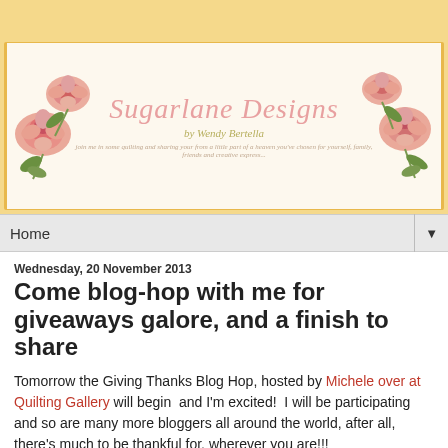[Figure (illustration): Sugarlane Designs blog header banner with roses and decorative border. Large italic pink text reads 'Sugarlane Designs' with subtitle 'by Wendy Bertella'. Pink roses decorate left and right sides.]
Home ▼
Wednesday, 20 November 2013
Come blog-hop with me for giveaways galore, and a finish to share
Tomorrow the Giving Thanks Blog Hop, hosted by Michele over at Quilting Gallery will begin  and I'm excited!  I will be participating and so are many more bloggers all around the world, after all, there's much to be thankful for, wherever you are!!!
[Figure (illustration): Blog Hop promotional image with colorful text 'Blog Hop' on a light blue background with confetti decoration and red border.]